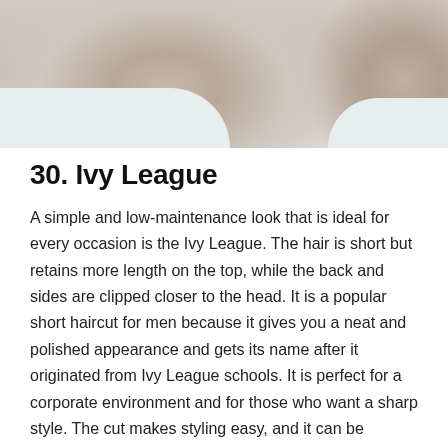[Figure (photo): Close-up photo of a man's neck and chest area wearing a light grey/white sleeveless shirt or tank top, showing collarbone area]
30. Ivy League
A simple and low-maintenance look that is ideal for every occasion is the Ivy League. The hair is short but retains more length on the top, while the back and sides are clipped closer to the head. It is a popular short haircut for men because it gives you a neat and polished appearance and gets its name after it originated from Ivy League schools. It is perfect for a corporate environment and for those who want a sharp style. The cut makes styling easy, and it can be achieved on various hair textures and types. You can also personalize this look by experimenting with different lengths or trying out a side parting